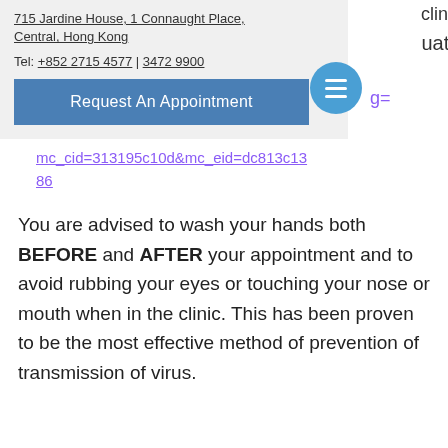clinic.
uation
715 Jardine House, 1 Connaught Place, Central, Hong Kong
Tel: +852 2715 4577 | 3472 9900
Request An Appointment
g=
mc_cid=313195c10d&mc_eid=dc813c1386
You are advised to wash your hands both BEFORE and AFTER your appointment and to avoid rubbing your eyes or touching your nose or mouth when in the clinic. This has been proven to be the most effective method of prevention of transmission of virus.